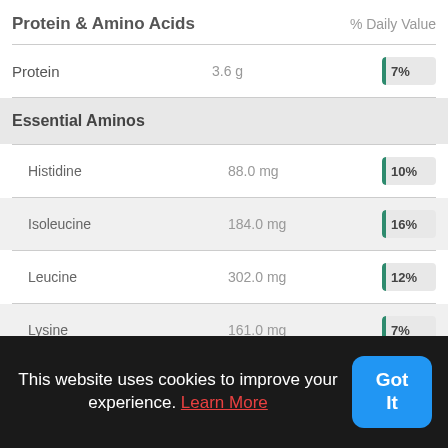Protein & Amino Acids    % Daily Value
| Nutrient | Amount | % Daily Value |
| --- | --- | --- |
| Protein | 3.6 g | 7% |
| Essential Aminos |  |  |
| Histidine | 88.0 mg | 10% |
| Isoleucine | 184.0 mg | 16% |
| Leucine | 302.0 mg | 12% |
| Lysine | 161.0 mg | 7% |
| Methionine | 85.0 mg | 7% |
This website uses cookies to improve your experience. Learn More
Got It